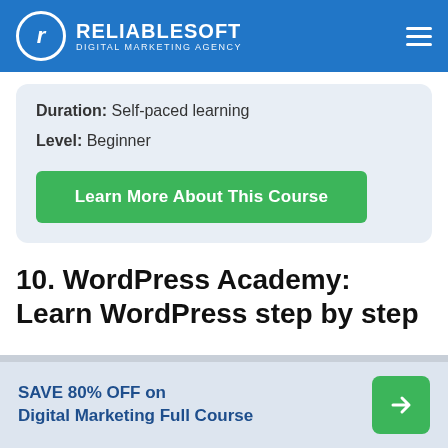RELIABLESOFT DIGITAL MARKETING AGENCY
Duration: Self-paced learning
Level: Beginner
Learn More About This Course
10. WordPress Academy: Learn WordPress step by step
SAVE 80% OFF on Digital Marketing Full Course